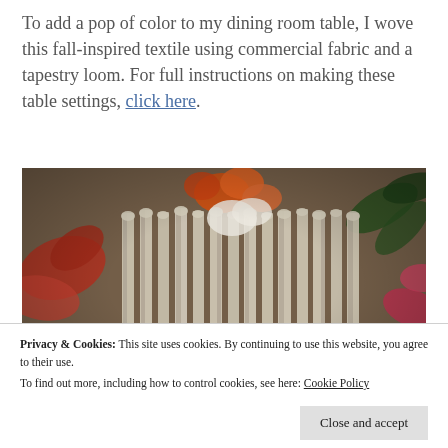To add a pop of color to my dining room table, I wove this fall-inspired textile using commercial fabric and a tapestry loom. For full instructions on making these table settings, click here.
[Figure (photo): A close-up photo of a fall-inspired woven textile on a tapestry loom, showing rolled fabric strips tied at the top, surrounded by autumn leaves and dried flowers in orange, red, and gold tones.]
Privacy & Cookies: This site uses cookies. By continuing to use this website, you agree to their use. To find out more, including how to control cookies, see here: Cookie Policy
Close and accept